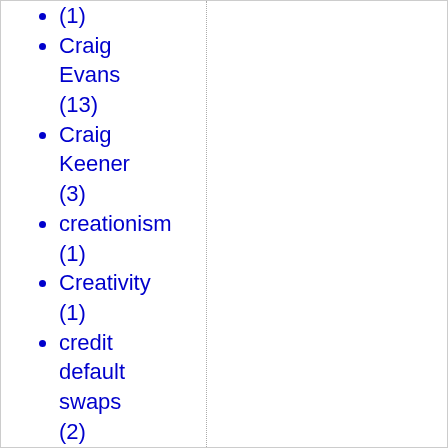(1)
Craig Evans (13)
Craig Keener (3)
creationism (1)
Creativity (1)
credit default swaps (2)
creeping Islamicization of the West (1)
crime (5)
Crimea (1)
Crisis